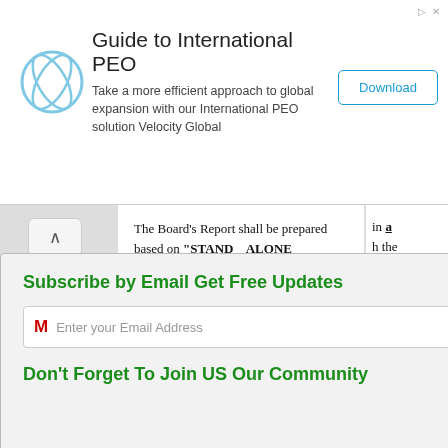[Figure (other): Advertisement banner: Guide to International PEO with logo, description text, and Download button]
The Board’s Report shall be prepared based on “STAND ALONE FINANCIAL STATEMENT

OF THE COMPANY”
[Figure (other): Subscribe by Email popup overlay with email input field, Subscribe button, and Don't Forget To Join US Our Community message. Has a red X close button.]
in a
h the
h:

n the
nted

ne in